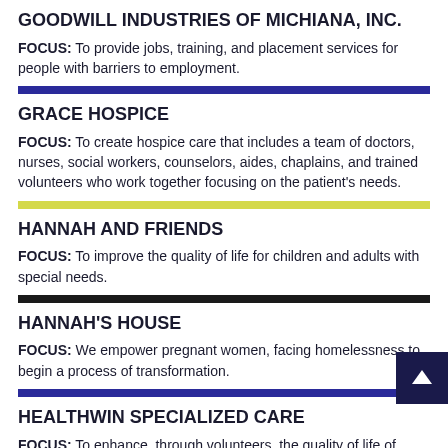GOODWILL INDUSTRIES OF MICHIANA, INC.
FOCUS: To provide jobs, training, and placement services for people with barriers to employment.
GRACE HOSPICE
FOCUS: To create hospice care that includes a team of doctors, nurses, social workers, counselors, aides, chaplains, and trained volunteers who work together focusing on the patient's needs.
HANNAH AND FRIENDS
FOCUS: To improve the quality of life for children and adults with special needs.
HANNAH'S HOUSE
FOCUS: We empower pregnant women, facing homelessness to begin a process of transformation.
HEALTHWIN SPECIALIZED CARE
FOCUS: To enhance, through volunteers, the quality of life of those